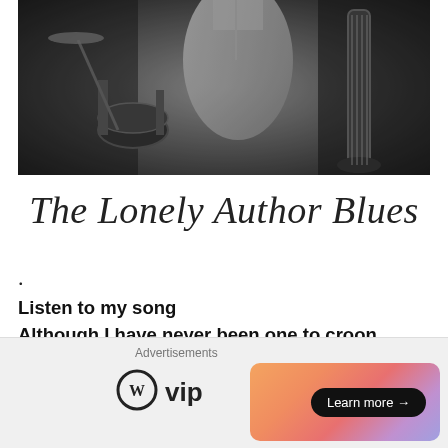[Figure (photo): Black and white photo of a musician or singer on stage with drums and a bass instrument in the background]
The Lonely Author Blues
.
Listen to my song
Although I have never been one to croon
Hear my sweet lyrics
Perhaps my whispers will make you swoon
[Figure (infographic): Advertisements banner with WordPress VIP logo and a colorful gradient ad card with 'Learn more' button]